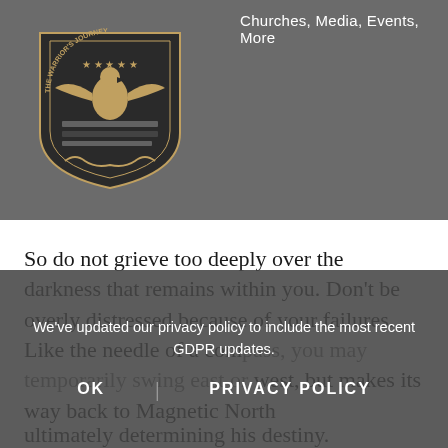[Figure (logo): The Warrior's Journey shield logo with eagle]
Churches, Media, Events, More   ARTICLES   MENU
It is the same in the life of the Christian disciple. Storms of temptation push and tilt him in the wrong direction. But the prevailing force in his life is God's truth and God's Spirit, always nudging him in God's direction, always shaping his character, and ultimately determining his destiny.
So do not grieve too deeply over the darkness that remains within you. Don't be overly distressed because of your failures. Like the needle of a compass, you may temporarily swing east or west, but makes its way back to Magnetic North
We've updated our privacy policy to include the most recent GDPR updates.
OK   PRIVACY POLICY